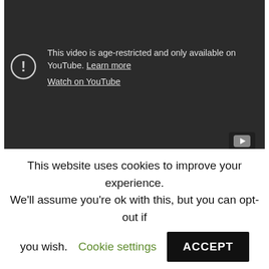[Figure (screenshot): YouTube embedded video player showing age-restricted content warning on a dark background. A circle-exclamation icon is shown on the left, with text: 'This video is age-restricted and only available on YouTube. Learn more' and a 'Watch on YouTube' link below. A YouTube play button icon appears in the bottom-right corner.]
Online books Resources in your library Resources in other libraries. Amazon Renewed Refurbished
This website uses cookies to improve your experience. We'll assume you're ok with this, but you can opt-out if you wish. Cookie settings ACCEPT